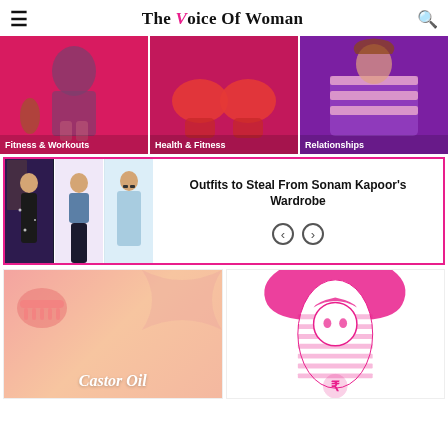The Voice Of Woman
[Figure (photo): Three category cards: Fitness & Workouts (woman in sports bra on pink background), Health & Fitness (boxing gloves on pink background), Relationships (woman in striped sweater)]
Fitness & Workouts
Health & Fitness
Relationships
[Figure (photo): Featured article card with images of Sonam Kapoor outfits (three women in different outfits) and navigation arrows]
Outfits to Steal From Sonam Kapoor's Wardrobe
[Figure (photo): Castor Oil article card with pink/salmon background, comb illustration, and cursive Castor Oil text]
[Figure (illustration): Pink illustrated figure of a woman's face/bust with pink and white striped pattern and a rupee symbol]